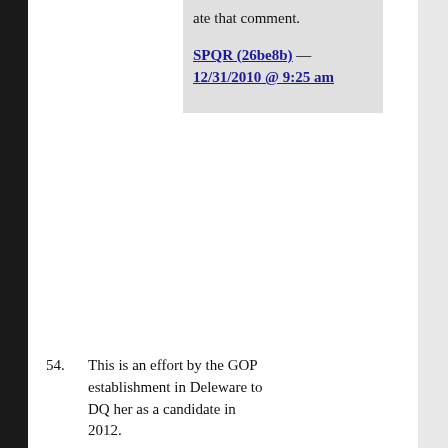ate that comment.
SPQR (26be8b) — 12/31/2010 @ 9:25 am
54. This is an effort by the GOP establishment in Deleware to DQ her as a candidate in 2012.
She's becoming the standard bearer of the fringe right wing in Delaware in getting herself